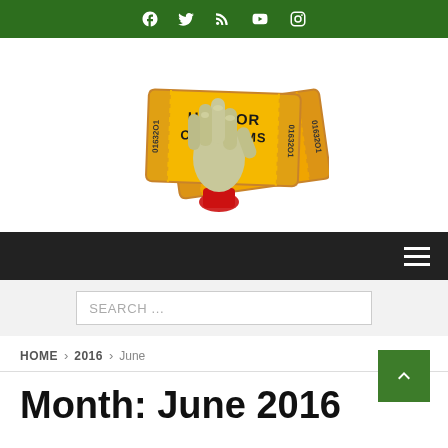Social media icons bar (Facebook, Twitter, RSS, YouTube, Instagram)
[Figure (logo): Horror Cult Films co.uk logo: a zombie/undead hand holding two golden movie tickets with the text HORROR CULT FILMS CO.UK on them, with blood dripping at the wrist.]
Navigation bar with hamburger menu icon
SEARCH ...
HOME > 2016 > June
Month: June 2016